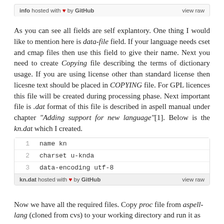info hosted with ♥ by GitHub   view raw
As you can see all fields are self explantory. One thing I would like to mention here is data-file field. If your language needs cset and cmap files then use this field to give their name. Next you need to create Copying file describing the terms of dictionary usage. If you are using license other than standard license then licesne text should be placed in COPYING file. For GPL licences this file will be created during processing phase. Next important file is .dat format of this file is described in aspell manual under chapter "Adding support for new language"[1]. Below is the kn.dat which I created.
| 1 | name kn |
| 2 | charset u-knda |
| 3 | data-encoding utf-8 |
kn.dat hosted with ♥ by GitHub   view raw
Now we have all the required files. Copy proc file from aspell-lang (cloned from cvs) to your working directory and run it as